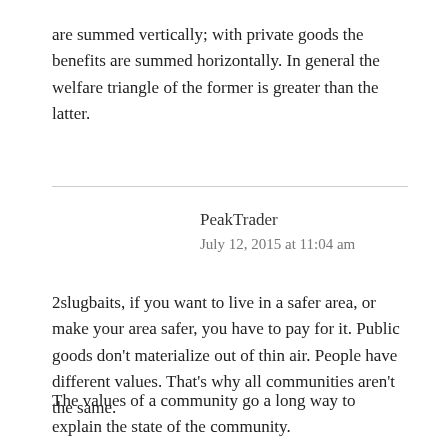are summed vertically; with private goods the benefits are summed horizontally. In general the welfare triangle of the former is greater than the latter.
PeakTrader
July 12, 2015 at 11:04 am
2slugbaits, if you want to live in a safer area, or make your area safer, you have to pay for it. Public goods don't materialize out of thin air. People have different values. That's why all communities aren't the same.
The values of a community go a long way to explain the state of the community.